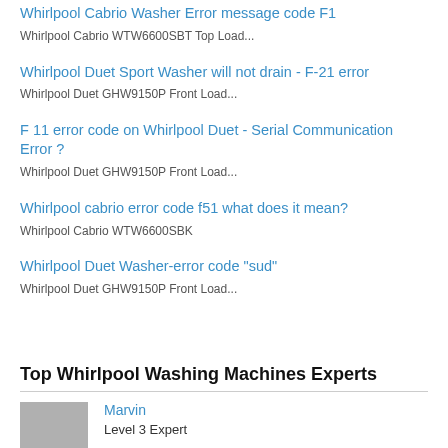Whirlpool Cabrio Washer Error message code F1
Whirlpool Cabrio WTW6600SBT Top Load...
Whirlpool Duet Sport Washer will not drain - F-21 error
Whirlpool Duet GHW9150P Front Load...
F 11 error code on Whirlpool Duet - Serial Communication Error ?
Whirlpool Duet GHW9150P Front Load...
Whirlpool cabrio error code f51 what does it mean?
Whirlpool Cabrio WTW6600SBK
Whirlpool Duet Washer-error code "sud"
Whirlpool Duet GHW9150P Front Load...
Top Whirlpool Washing Machines Experts
Marvin
Level 3 Expert